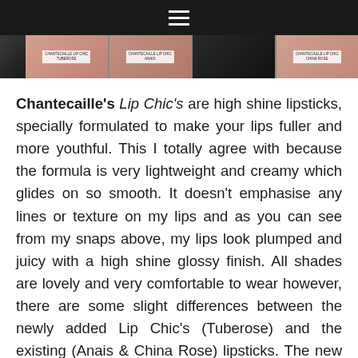[Figure (photo): Navigation bar with hamburger menu icon on dark background]
[Figure (photo): Strip of product photos showing lipstick swatches on lips with Chantecaille Lip Chic labels]
Chantecaille's Lip Chic's are high shine lipsticks, specially formulated to make your lips fuller and more youthful. This I totally agree with because the formula is very lightweight and creamy which glides on so smooth. It doesn't emphasise any lines or texture on my lips and as you can see from my snaps above, my lips look plumped and juicy with a high shine glossy finish. All shades are lovely and very comfortable to wear however, there are some slight differences between the newly added Lip Chic's (Tuberose) and the existing (Anais & China Rose) lipsticks. The new shades have a slight vanilla scent to them and a tiny bit more colour pay-off in one stroke. The new ones are also less frosty gloss and more opaque gloss instead. It's nothing major because they all still have